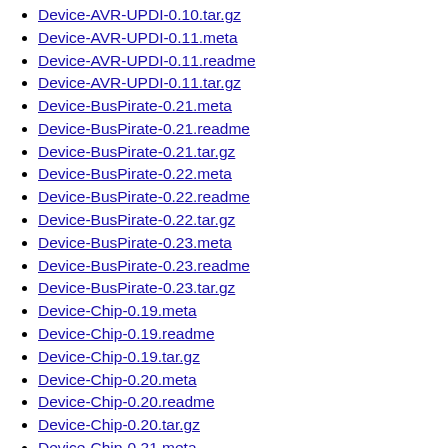Device-AVR-UPDI-0.10.tar.gz
Device-AVR-UPDI-0.11.meta
Device-AVR-UPDI-0.11.readme
Device-AVR-UPDI-0.11.tar.gz
Device-BusPirate-0.21.meta
Device-BusPirate-0.21.readme
Device-BusPirate-0.21.tar.gz
Device-BusPirate-0.22.meta
Device-BusPirate-0.22.readme
Device-BusPirate-0.22.tar.gz
Device-BusPirate-0.23.meta
Device-BusPirate-0.23.readme
Device-BusPirate-0.23.tar.gz
Device-Chip-0.19.meta
Device-Chip-0.19.readme
Device-Chip-0.19.tar.gz
Device-Chip-0.20.meta
Device-Chip-0.20.readme
Device-Chip-0.20.tar.gz
Device-Chip-0.21.meta
Device-Chip-0.21.readme
Device-Chip-0.21.tar.gz
Device-Chip-0.22.meta
Device-Chip-0.22.readme
Device-Chip-0.22.tar.gz